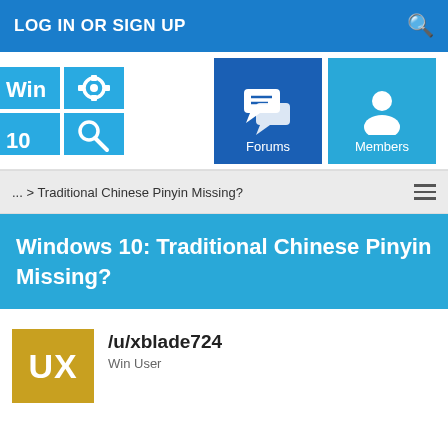LOG IN OR SIGN UP
[Figure (logo): Windows 10 logo with gear and search icons]
[Figure (illustration): Forums tile with chat bubble icon]
[Figure (illustration): Members tile with person icon]
... > Traditional Chinese Pinyin Missing?
Windows 10: Traditional Chinese Pinyin Missing?
/u/xblade724
Win User